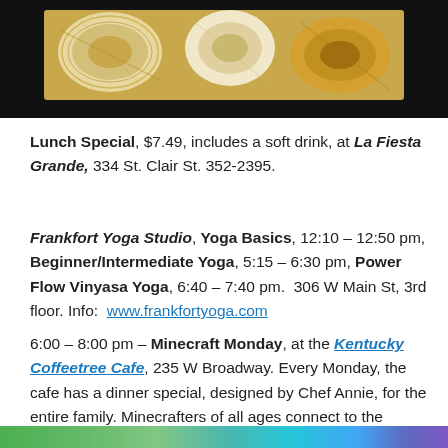[Figure (photo): Photo of yarn skeins and balls in cream and golden/tan colors on a dark background]
Lunch Special, $7.49, includes a soft drink, at La Fiesta Grande, 334 St. Clair St. 352-2395.
Frankfort Yoga Studio, Yoga Basics, 12:10 – 12:50 pm, Beginner/Intermediate Yoga, 5:15 – 6:30 pm, Power Flow Vinyasa Yoga, 6:40 – 7:40 pm.  306 W Main St, 3rd floor. Info:  www.frankfortyoga.com
6:00 – 8:00 pm – Minecraft Monday, at the Kentucky Coffeetree Cafe, 235 W Broadway. Every Monday, the cafe has a dinner special, designed by Chef Annie, for the entire family. Minecrafters of all ages connect to the Coffeetree server and play together! Info HERE
[Figure (photo): Colorful strip image at bottom of page]